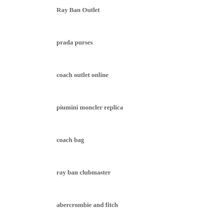Ray Ban Outlet
prada purses
coach outlet online
piumini moncler replica
coach bag
ray ban clubmaster
abercrombie and fitch
coach outlet online
kate spade
Jordan Retro Shoes